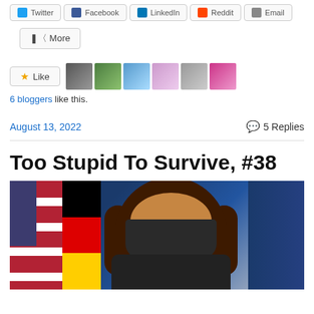Share buttons: Twitter, Facebook, LinkedIn, Reddit, Email
More
[Figure (other): Like button with star icon and 6 blogger avatar thumbnails]
6 bloggers like this.
August 13, 2022   💬 5 Replies
Too Stupid To Survive, #38
[Figure (photo): A woman wearing a black face mask standing in front of American and German flags]